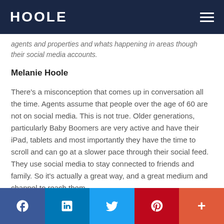HOOLE
agents and properties and whats happening in areas though their social media accounts.
Melanie Hoole
There's a misconception that comes up in conversation all the time. Agents assume that people over the age of 60 are not on social media. This is not true. Older generations, particularly Baby Boomers are very active and have their iPad, tablets and most importantly they have the time to scroll and can go at a slower pace through their social feed. They use social media to stay connected to friends and family. So it's actually a great way, and a great medium and channel to reach them.
f  in  Twitter  Pinterest  +